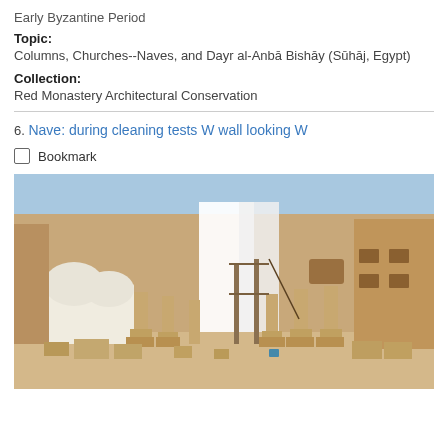Early Byzantine Period
Topic:
Columns, Churches--Naves, and Dayr al-Anbā Bishāy (Sūhāj, Egypt)
Collection:
Red Monastery Architectural Conservation
6. Nave: during cleaning tests W wall looking W
Bookmark
[Figure (photo): Photograph of an ancient church nave interior courtyard showing stone columns, white fabric draped over scaffolding on the west wall, whitewashed domed structures on the left, and sandy stone walls with small windows. The site appears to be under conservation work at the Red Monastery in Sohag, Egypt.]